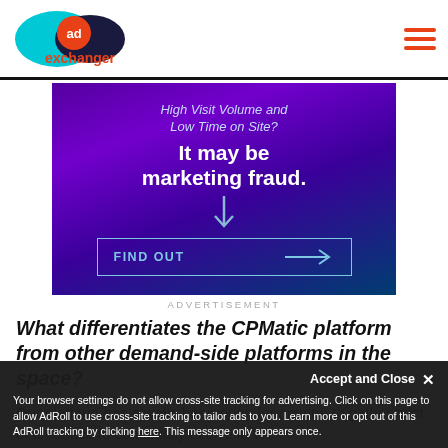AdExchanger
[Figure (illustration): Advertisement banner with purple gradient background. Text reads: 'High Visit Volume and Low Time on Site? It may be marketing fraud.' with a FIND OUT button and arrow.]
ADVERTISEMENT
What differentiates the CPMatic platform from other demand-side platforms in the space?
Our platform has always been open for anyone to gather a lot of feedback to continually evolve it. We
Accept and Close ✕
Your browser settings do not allow cross-site tracking for advertising. Click on this page to allow AdRoll to use cross-site tracking to tailor ads to you. Learn more or opt out of this AdRoll tracking by clicking here. This message only appears once.